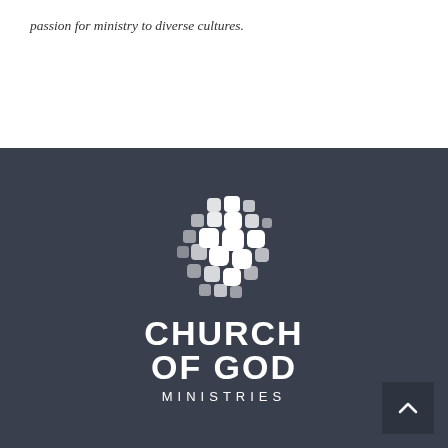passion for ministry to diverse cultures.
[Figure (logo): Church of God Ministries logo with white geometric cross/grid symbol and text reading CHURCH OF GOD MINISTRIES on dark slate background]